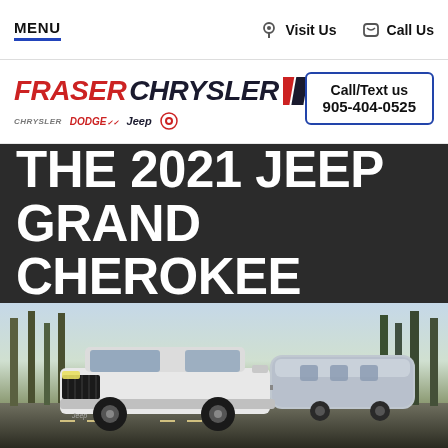MENU | Visit Us | Call Us
[Figure (logo): Fraser Chrysler dealership logo with Chrysler, Dodge, Jeep brand marks]
Call/Text us 905-404-0525
THE 2021 JEEP GRAND CHEROKEE
[Figure (photo): White 2021 Jeep Grand Cherokee towing an Airstream trailer on a tree-lined road]